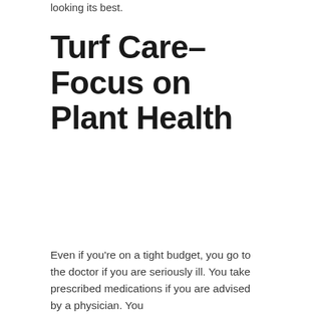looking its best.
Turf Care–Focus on Plant Health
Even if you're on a tight budget, you go to the doctor if you are seriously ill. You take prescribed medications if you are advised by a physician. You